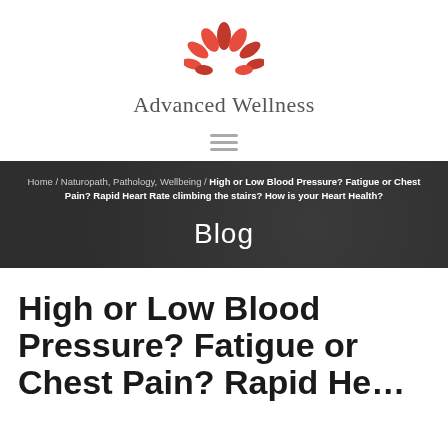[Figure (logo): Advanced Wellness logo: red flower/lotus icon above the text 'Advanced Wellness' in grey serif font]
Home / Naturopath, Pathology, Wellbeing / High or Low Blood Pressure? Fatigue or Chest Pain? Rapid Heart Rate climbing the stairs? How is your Heart Health?
Blog
High or Low Blood Pressure? Fatigue or Chest Pain? Rapid Heart Rate climbing the stairs? How is your Heart Health?